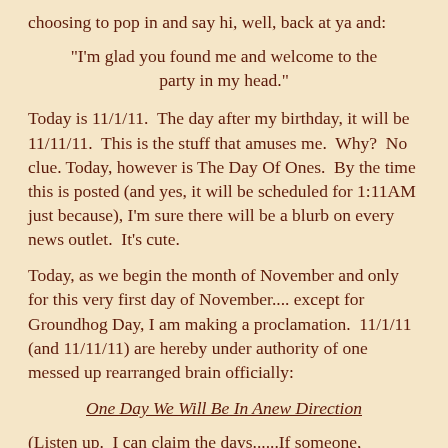choosing to pop in and say hi, well, back at ya and:
"I'm glad you found me and welcome to the party in my head."
Today is 11/1/11.  The day after my birthday, it will be 11/11/11.  This is the stuff that amuses me.  Why?  No clue.  Today, however is The Day Of Ones.  By the time this is posted (and yes, it will be scheduled for 1:11AM just because), I'm sure there will be a blurb on every news outlet.  It's cute.
Today, as we begin the month of November and only for this very first day of November.... except for Groundhog Day, I am making a proclamation.  11/1/11 (and 11/11/11) are hereby under authority of one messed up rearranged brain officially:
One Day We Will Be In Anew Direction
(Listen up.  I can claim the days......If someone, somewhere was able to get November to be National Blog Post Month, WTF-are you kidding me..... seriously, you can't make this